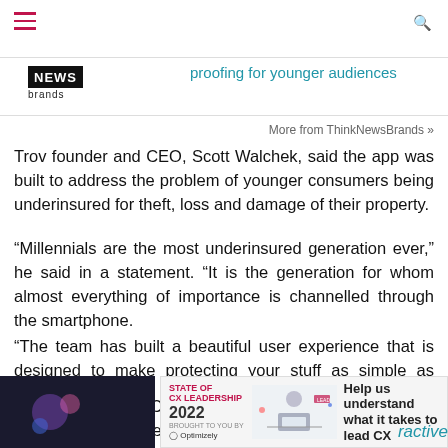ThinkNewsBrands — proofing for younger audiences
More from ThinkNewsBrands »
Trov founder and CEO, Scott Walchek, said the app was built to address the problem of younger consumers being underinsured for theft, loss and damage of their property.
“Millennials are the most underinsured generation ever,” he said in a statement. “It is the generation for whom almost everything of importance is channelled through the smartphone.
“The team has built a beautiful user experience that is designed to make protecting your stuff as simple as swiping right.”
Suncorp Group CEO of customer platforms, Gary Dransfield, said the decision to launch in Australia first was driven by his company’s focus on innovating the insurance space.
[Figure (infographic): Advertisement banner: STATE OF CX LEADERSHIP 2022, brought to you by Optimizely. Help us understand what it takes to lead CX.]